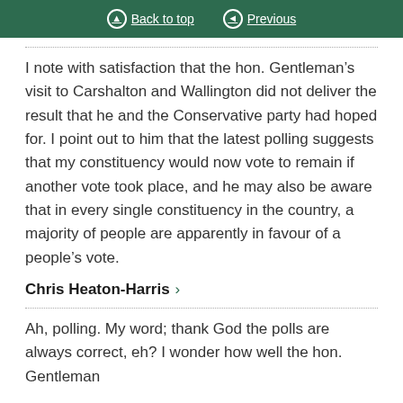Back to top | Previous
I note with satisfaction that the hon. Gentleman’s visit to Carshalton and Wallington did not deliver the result that he and the Conservative party had hoped for. I point out to him that the latest polling suggests that my constituency would now vote to remain if another vote took place, and he may also be aware that in every single constituency in the country, a majority of people are apparently in favour of a people’s vote.
Chris Heaton-Harris
Ah, polling. My word; thank God the polls are always correct, eh? I wonder how well the hon. Gentleman